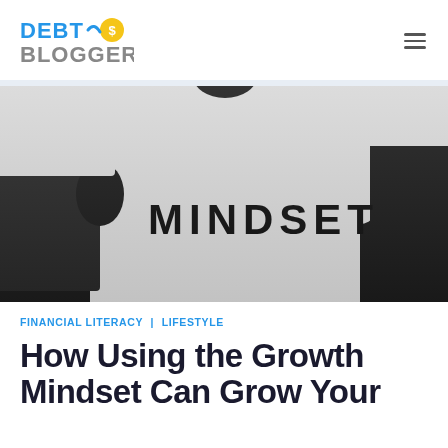Debt Blogger
[Figure (photo): Puzzle pieces on a dark background with the word MINDSET printed in bold black letters on a white puzzle piece]
FINANCIAL LITERACY | LIFESTYLE
How Using the Growth Mindset Can Grow Your